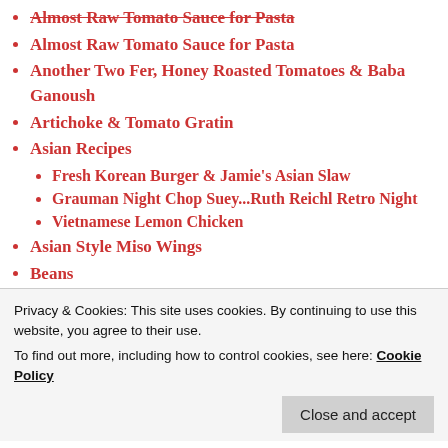Almost Raw Tomato Sauce for Pasta
Another Two Fer, Honey Roasted Tomatoes & Baba Ganoush
Artichoke & Tomato Gratin
Asian Recipes
Fresh Korean Burger & Jamie's Asian Slaw
Grauman Night Chop Suey...Ruth Reichl Retro Night
Vietnamese Lemon Chicken
Asian Style Miso Wings
Beans
Baked Three Bean Casserole
Oven Boston Baked Beans
Santa Maria Style Beans in the Slow Cooker
Beef
Beef & Guiness nPie – Jaime Oliver Sort of...
Boozy Beef Daube adapted from Mastering the Art of
Privacy & Cookies: This site uses cookies. By continuing to use this website, you agree to their use. To find out more, including how to control cookies, see here: Cookie Policy
Close and accept